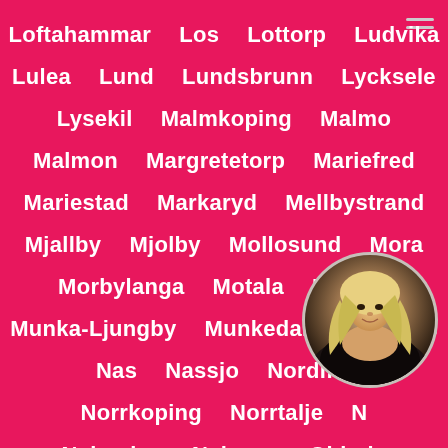Loftahammar  Los  Lottorp  Ludvika
Lulea  Lund  Lundsbrunn  Lycksele
Lysekil  Malmkoping  Malmo
Malmon  Margretetorp  Mariefred
Mariestad  Markaryd  Mellbystrand
Mjallby  Mjolby  Mollosund  Mora
Morbylanga  Motala  Mullsjo
Munka-Ljungby  Munkedal  Munkfors
Nas  Nassjo  Nordma...
Norrkoping  Norrtalje  N...
Nykoping  Nykvarn  Obbola
[Figure (photo): Circular portrait photo of a blonde woman in dark clothing, partially obscured in the bottom-right corner of the page]